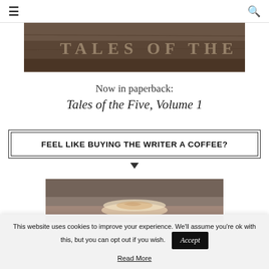≡  [search icon]
[Figure (photo): Dark textured book cover with embossed or faded title text, showing partial letters suggesting an author or book name]
Now in paperback:
Tales of the Five, Volume 1
FEEL LIKE BUYING THE WRITER A COFFEE?
[Figure (photo): Close-up photograph of a coffee cup with latte art, on a textured surface]
This website uses cookies to improve your experience. We'll assume you're ok with this, but you can opt out if you wish.
Accept
Read More